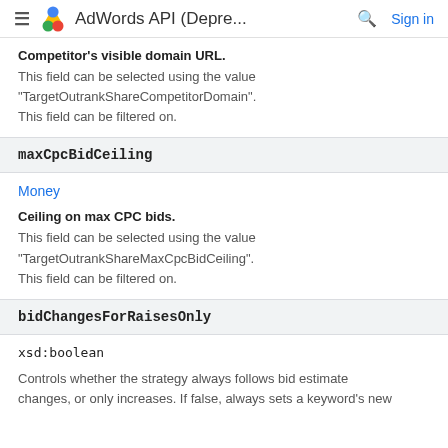AdWords API (Depre...
Competitor's visible domain URL.
This field can be selected using the value "TargetOutrankShareCompetitorDomain". This field can be filtered on.
maxCpcBidCeiling
Money
Ceiling on max CPC bids.
This field can be selected using the value "TargetOutrankShareMaxCpcBidCeiling". This field can be filtered on.
bidChangesForRaisesOnly
xsd:boolean
Controls whether the strategy always follows bid estimate changes, or only increases. If false, always sets a keyword's new